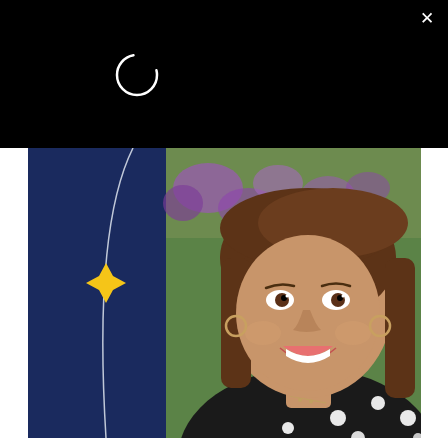[Figure (screenshot): Black modal overlay with white X close button in top right corner and a circular loading spinner icon in the upper left area of the black region]
[Figure (photo): A smiling woman with brown hair wearing a black polka-dot top, with a navy blue panel on the left side containing a yellow four-pointed star shape and a curved line. Background shows blurred purple flowers and greenery.]
How This Marketing Pro Landed Her Dream Job at Beam Suntory
The Muse